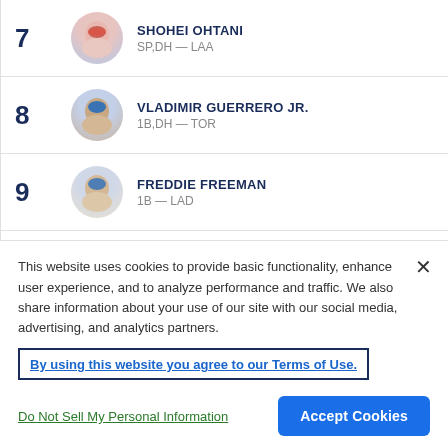7 SHOHEI OHTANI SP,DH — LAA
8 VLADIMIR GUERRERO JR. 1B,DH — TOR
9 FREDDIE FREEMAN 1B — LAD
10 CORBIN BURNES SP — MIL
This website uses cookies to provide basic functionality, enhance user experience, and to analyze performance and traffic. We also share information about your use of our site with our social media, advertising, and analytics partners.
By using this website you agree to our Terms of Use.
Do Not Sell My Personal Information
Accept Cookies